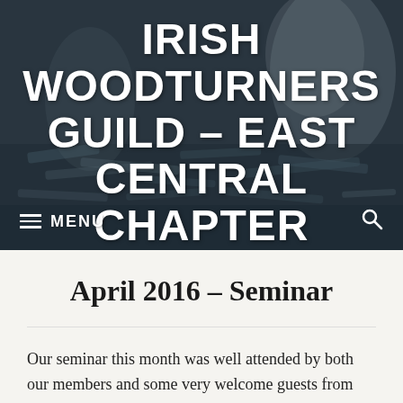[Figure (screenshot): Website header banner with blurred/dark background showing woodturning-related image. Contains the site title 'IRISH WOODTURNERS GUILD – EAST CENTRAL CHAPTER' in large bold white text, and a navigation menu bar with hamburger menu icon and MENU label on the left and a search icon on the right.]
≡ MENU
April 2016 – Seminar
Our seminar this month was well attended by both our members and some very welcome guests from other chapters and one I enjoyed very much as I'm sure everybody else did. This was due